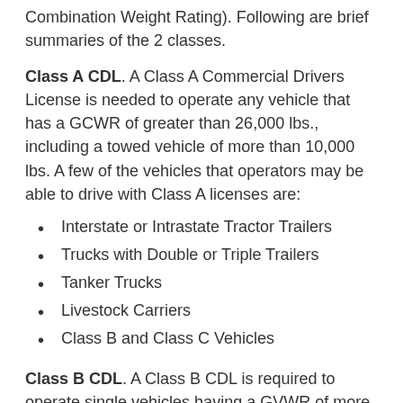Combination Weight Rating). Following are brief summaries of the 2 classes.
Class A CDL. A Class A Commercial Drivers License is needed to operate any vehicle that has a GCWR of greater than 26,000 lbs., including a towed vehicle of more than 10,000 lbs. A few of the vehicles that operators may be able to drive with Class A licenses are:
Interstate or Intrastate Tractor Trailers
Trucks with Double or Triple Trailers
Tanker Trucks
Livestock Carriers
Class B and Class C Vehicles
Class B CDL. A Class B CDL is required to operate single vehicles having a GVWR of more than 26,000 lbs., or a GCWR of greater than 26,000 lbs. including a towed vehicle weighing up to 10,000 lbs. Some of the vehicles that drivers may be